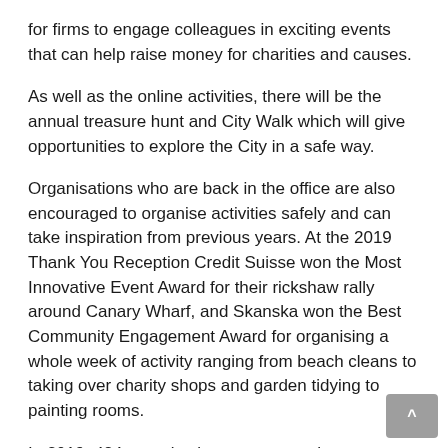for firms to engage colleagues in exciting events that can help raise money for charities and causes.
As well as the online activities, there will be the annual treasure hunt and City Walk which will give opportunities to explore the City in a safe way.
Organisations who are back in the office are also encouraged to organise activities safely and can take inspiration from previous years. At the 2019 Thank You Reception Credit Suisse won the Most Innovative Event Award for their rickshaw rally around Canary Wharf, and Skanska won the Best Community Engagement Award for organising a whole week of activity ranging from beach cleans to taking over charity shops and garden tidying to painting rooms.
In 2019, 424 organisations came together to recognise all this